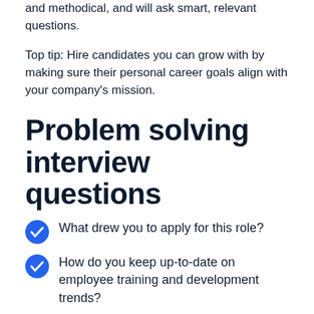and methodical, and will ask smart, relevant questions.
Top tip: Hire candidates you can grow with by making sure their personal career goals align with your company's mission.
Problem solving interview questions
What drew you to apply for this role?
How do you keep up-to-date on employee training and development trends?
What have you done recently to improve your skills?